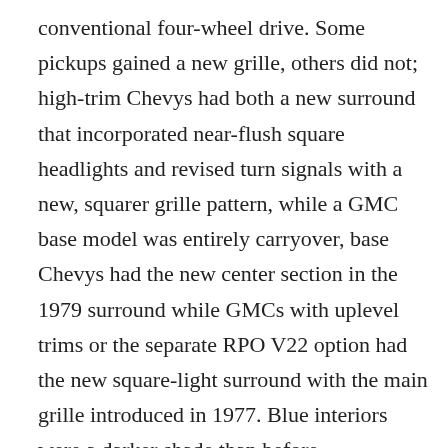conventional four-wheel drive. Some pickups gained a new grille, others did not; high-trim Chevys had both a new surround that incorporated near-flush square headlights and revised turn signals with a new, squarer grille pattern, while a GMC base model was entirely carryover, base Chevys had the new center section in the 1979 surround while GMCs with uplevel trims or the separate RPO V22 option had the new square-light surround with the main grille introduced in 1977. Blue interiors were a darker shade than before.
The wood grain inserts were replaced by bright brushed aluminum.